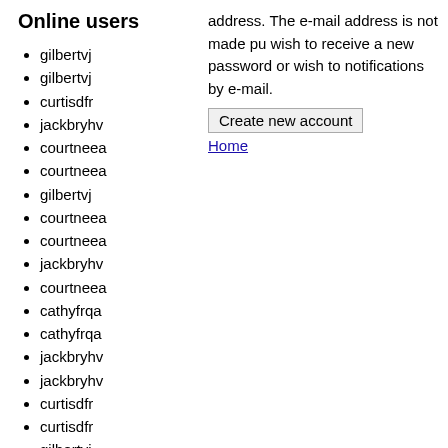Online users
address. The e-mail address is not made pu wish to receive a new password or wish to notifications by e-mail.
Create new account
Home
gilbertvj
gilbertvj
curtisdfr
jackbryhv
courtneea
courtneea
gilbertvj
courtneea
courtneea
jackbryhv
courtneea
cathyfrqa
cathyfrqa
jackbryhv
jackbryhv
curtisdfr
curtisdfr
gilbertvj
aveguct
courtneea
curtisdfr
courtneea
jackbryhv